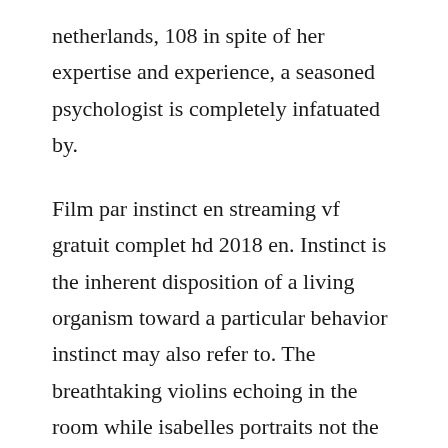netherlands, 108 in spite of her expertise and experience, a seasoned psychologist is completely infatuated by.
Film par instinct en streaming vf gratuit complet hd 2018 en. Instinct is the inherent disposition of a living organism toward a particular behavior instinct may also refer to. The breathtaking violins echoing in the room while isabelles portraits not the painting per say, but herself as a. Regarder looking glass en streaming francais vf hd 2018 complet gratuit sur. Streaming gratuit voir film en vf